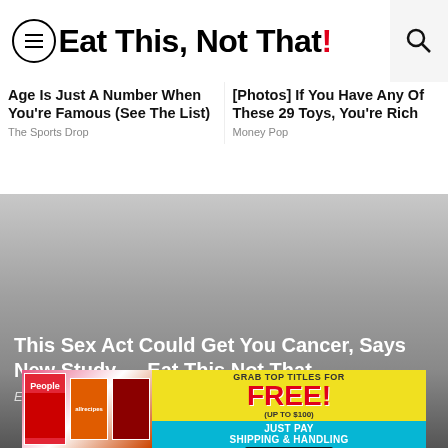Eat This, Not That!
Age Is Just A Number When You're Famous (See The List)
The Sports Drop
[Photos] If You Have Any Of These 29 Toys, You're Rich
Money Pop
[Figure (photo): Article image with dark gradient overlay]
This Sex Act Could Get You Cancer, Says New Study — Eat This Not That
Eat This, Not That
[Figure (infographic): Advertisement banner: Grab Top Titles For FREE! (Up to $100) Just Pay Shipping & Handling. Shop Now.]